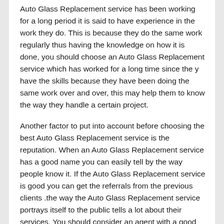Auto Glass Replacement service has been working for a long period it is said to have experience in the work they do. This is because they do the same work regularly thus having the knowledge on how it is done, you should choose an Auto Glass Replacement service which has worked for a long time since the y have the skills because they have been doing the same work over and over, this may help them to know the way they handle a certain project.
Another factor to put into account before choosing the best Auto Glass Replacement service is the reputation. When an Auto Glass Replacement service has a good name you can easily tell by the way people know it. If the Auto Glass Replacement service is good you can get the referrals from the previous clients .the way the Auto Glass Replacement service portrays itself to the public tells a lot about their services. You should consider an agent with a good name in the public since they are known of giving good and quality services.
The location of the Auto Glass Replacement service is